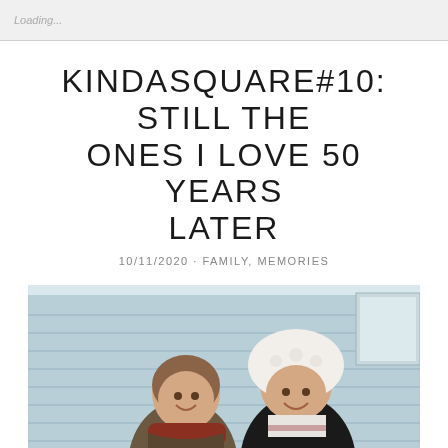Loading...
KINDASQUARE#10: STILL THE ONES I LOVE 50 YEARS LATER
10/11/2020 · FAMILY, MEMORIES
[Figure (photo): Two young girls smiling outdoors in winter clothing in front of a light blue siding wall. The girl on the left wears a brown jacket and scarf, the girl on the right wears a black coat and a large white fluffy hat.]